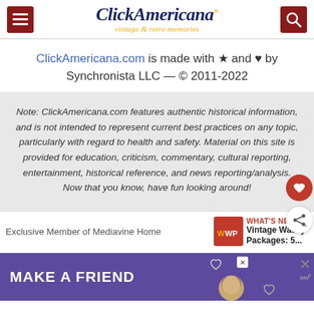Click Americana — vintage & retro memories
ClickAmericana.com is made with ★ and ♥ by Synchronista LLC — © 2011-2022
Note: ClickAmericana.com features authentic historical information, and is not intended to represent current best practices on any topic, particularly with regard to health and safety. Material on this site is provided for education, criticism, commentary, cultural reporting, entertainment, historical reference, and news reporting/analysis. Now that you know, have fun looking around!
Exclusive Member of Mediavine Home
WHAT'S NEXT → Vintage Wacky Packages: 5...
[Figure (screenshot): MAKE A FRIEND advertisement banner with purple background and dog image]